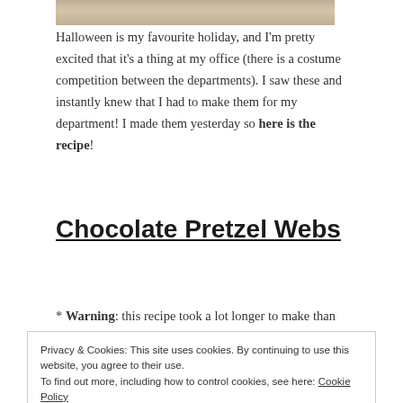[Figure (photo): Partial photo of chocolate pretzel webs on a plate, cropped at top]
Halloween is my favourite holiday, and I'm pretty excited that it's a thing at my office (there is a costume competition between the departments). I saw these and instantly knew that I had to make them for my department! I made them yesterday so here is the recipe!
Chocolate Pretzel Webs
* Warning: this recipe took a lot longer to make than
Privacy & Cookies: This site uses cookies. By continuing to use this website, you agree to their use.
To find out more, including how to control cookies, see here: Cookie Policy
Close and accept
Ingredients: